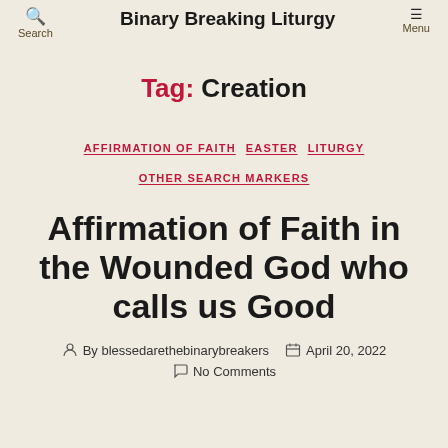Search | Binary Breaking Liturgy | Menu
Tag: Creation
AFFIRMATION OF FAITH  EASTER  LITURGY  OTHER SEARCH MARKERS
Affirmation of Faith in the Wounded God who calls us Good
By blessedarethebinarybreakers  April 20, 2022  No Comments